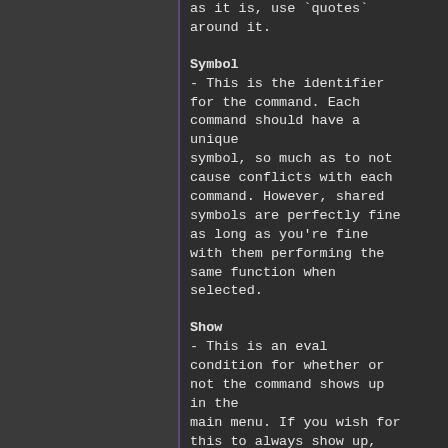as it is, use `quotes` around it.
Symbol
- This is the identifier for the command. Each command should have a unique symbol, so much as to not cause conflicts with each command. However, shared symbols are perfectly fine as long as you're fine with them performing the same function when selected.
Show
- This is an eval condition for whether or not the command shows up in the main menu. If you wish for this to always show up, simply use 'true' without